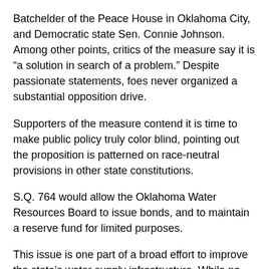Batchelder of the Peace House in Oklahoma City, and Democratic state Sen. Connie Johnson. Among other points, critics of the measure say it is “a solution in search of a problem.” Despite passionate statements, foes never organized a substantial opposition drive.
Supporters of the measure contend it is time to make public policy truly color blind, pointing out the proposition is patterned on race-neutral provisions in other state constitutions.
S.Q. 764 would allow the Oklahoma Water Resources Board to issue bonds, and to maintain a reserve fund for limited purposes.
This issue is one part of a broad effort to improve the state’s water supply infrastructure. While no intense opposition has emerged, some analysts worry about granting any state agency, including the OWRB, fresh bonding authority.
S.Q. 765 would abolish the constitutional requirement for a state Department of Human Services (DHS), its governing commission and the position of DHS director.